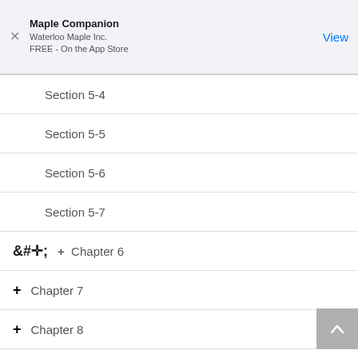Maple Companion
Waterloo Maple Inc.
FREE - On the App Store
Section 5-4
Section 5-5
Section 5-6
Section 5-7
+ Chapter 6
+ Chapter 7
+ Chapter 8
+ Chapter 9
+ Appendix